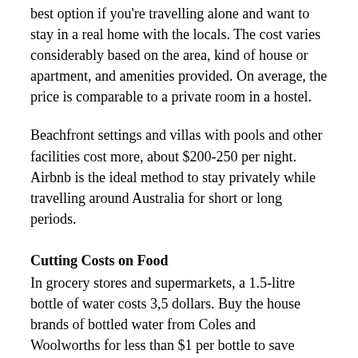best option if you're travelling alone and want to stay in a real home with the locals. The cost varies considerably based on the area, kind of house or apartment, and amenities provided. On average, the price is comparable to a private room in a hostel.
Beachfront settings and villas with pools and other facilities cost more, about $200-250 per night. Airbnb is the ideal method to stay privately while travelling around Australia for short or long periods.
Cutting Costs on Food
In grocery stores and supermarkets, a 1.5-litre bottle of water costs 3,5 dollars. Buy the house brands of bottled water from Coles and Woolworths for less than $1 per bottle to save money on bottled water. Filtered tap water is also acceptable.